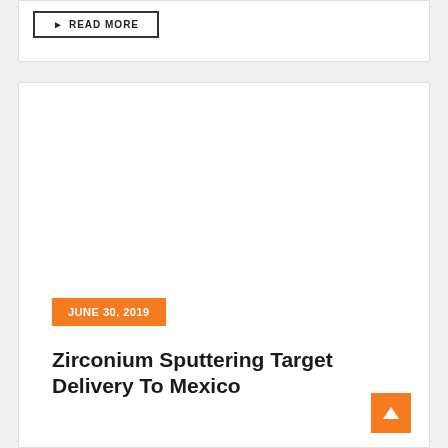READ MORE
[Figure (photo): Empty white image area placeholder for article thumbnail]
JUNE 30, 2019
Zirconium Sputtering Target Delivery To Mexico
By matmetals   News   673 Views   0 Comment